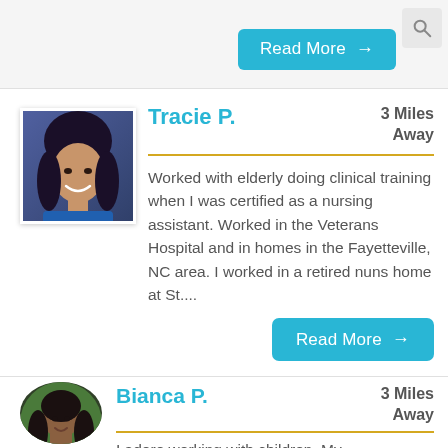[Figure (other): Read More button with right arrow, cyan/teal background, and search icon in top-right corner]
[Figure (photo): Profile photo of Tracie P., a smiling woman with long dark hair, blue-tinted background]
Tracie P.
3 Miles Away
Worked with elderly doing clinical training when I was certified as a nursing assistant. Worked in the Veterans Hospital and in homes in the Fayetteville, NC area. I worked in a retired nuns home at St....
[Figure (other): Read More button with right arrow, cyan/teal background]
[Figure (photo): Profile photo of Bianca P., a young woman with short dark hair, outdoor background]
Bianca P.
3 Miles Away
I adore working with children. My...